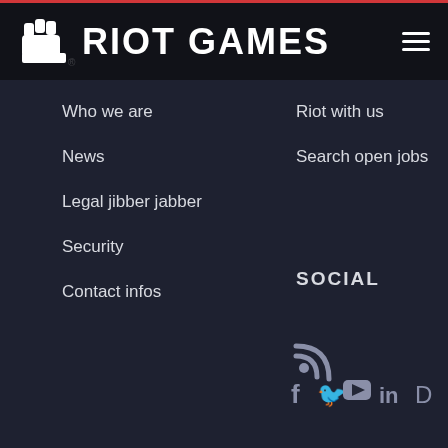RIOT GAMES
Who we are
News
Legal jibber jabber
Security
Contact infos
Riot with us
Search open jobs
SOCIAL
[Figure (illustration): RSS feed icon, followed by a row of social media icons: Facebook (f), Twitter (bird), YouTube (play button), LinkedIn (in), and an unidentified icon (D-shape)]